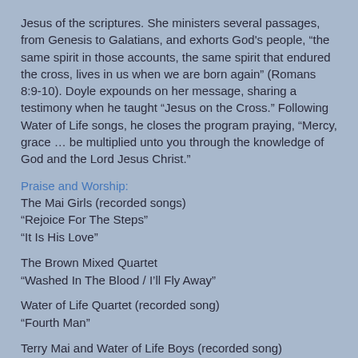Jesus of the scriptures. She ministers several passages, from Genesis to Galatians, and exhorts God's people, “the same spirit in those accounts, the same spirit that endured the cross, lives in us when we are born again” (Romans 8:9-10). Doyle expounds on her message, sharing a testimony when he taught “Jesus on the Cross.” Following Water of Life songs, he closes the program praying, “Mercy, grace … be multiplied unto you through the knowledge of God and the Lord Jesus Christ.”
Praise and Worship:
The Mai Girls (recorded songs)
“Rejoice For The Steps”
“It Is His Love”
The Brown Mixed Quartet
“Washed In The Blood / I’ll Fly Away”
Water of Life Quartet (recorded song)
“Fourth Man”
Terry Mai and Water of Life Boys (recorded song)